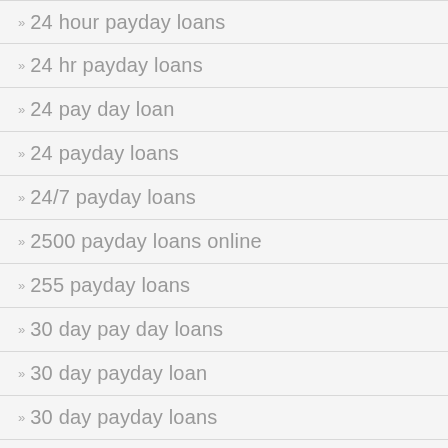» 24 hour payday loans
» 24 hr payday loans
» 24 pay day loan
» 24 payday loans
» 24/7 payday loans
» 2500 payday loans online
» 255 payday loans
» 30 day pay day loans
» 30 day payday loan
» 30 day payday loans